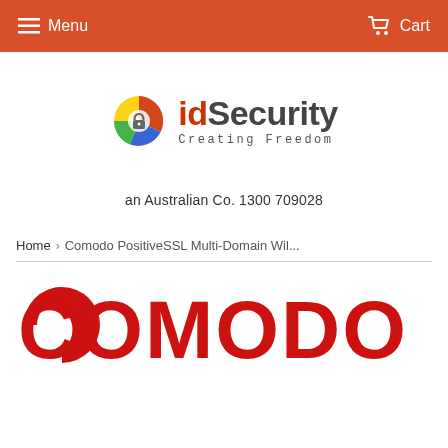Menu  Cart
[Figure (logo): idSecurity logo with colorful circular icon and text 'idSecurity Creating Freedom']
an Australian Co. 1300 709028
Home › Comodo PositiveSSL Multi-Domain Wil...
[Figure (logo): COMODO logo in large bold red letters]